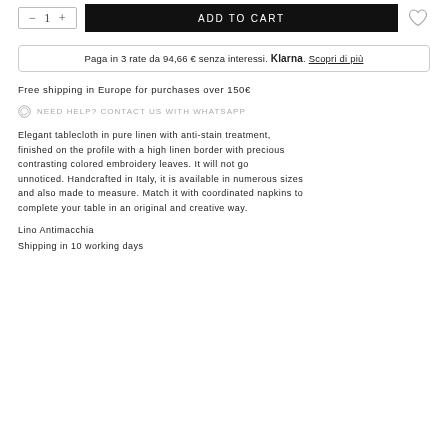Paga in 3 rate da 94,66 € senza interessi. Klarna. Scopri di più
Free shipping in Europe for purchases over 150€
NEED HELP? CONTACT US WITH WHATSAPP
Elegant tablecloth in pure linen with anti-stain treatment, finished on the profile with a high linen border with precious contrasting colored embroidery leaves. It will not go unnoticed. Handcrafted in Italy, it is available in numerous sizes and also made to measure. Match it with coordinated napkins to complete your table in an original and creative way.
Lino Antimacchia
Shipping in 10 working days